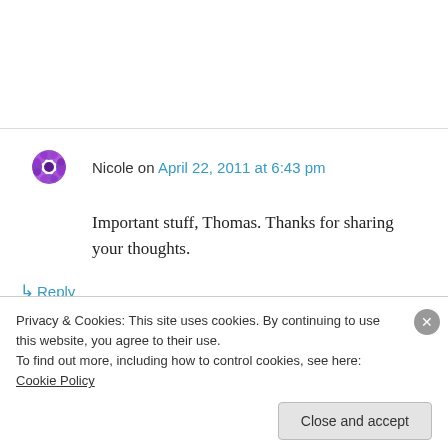Nicole on April 22, 2011 at 6:43 pm
Important stuff, Thomas. Thanks for sharing your thoughts.
↳ Reply
Thomas Lee True West on April 22, 2011 at
Privacy & Cookies: This site uses cookies. By continuing to use this website, you agree to their use.
To find out more, including how to control cookies, see here: Cookie Policy
Close and accept